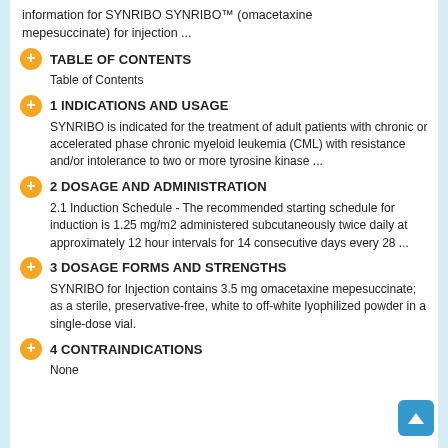information for SYNRIBO SYNRIBO™ (omacetaxine mepesuccinate) for injection ...
TABLE OF CONTENTS
Table of Contents
1 INDICATIONS AND USAGE
SYNRIBO is indicated for the treatment of adult patients with chronic or accelerated phase chronic myeloid leukemia (CML) with resistance and/or intolerance to two or more tyrosine kinase ...
2 DOSAGE AND ADMINISTRATION
2.1 Induction Schedule - The recommended starting schedule for induction is 1.25 mg/m2 administered subcutaneously twice daily at approximately 12 hour intervals for 14 consecutive days every 28 ...
3 DOSAGE FORMS AND STRENGTHS
SYNRIBO for Injection contains 3.5 mg omacetaxine mepesuccinate; as a sterile, preservative-free, white to off-white lyophilized powder in a single-dose vial.
4 CONTRAINDICATIONS
None